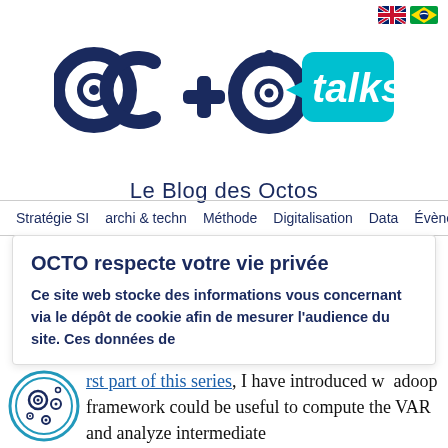[Figure (logo): OCTO talks! blog logo with stylized letters and 'talks!' in cyan speech bubble, subtitle 'Le Blog des Octos']
Stratégie SI  archi & techn  Méthode  Digitalisation  Data  Évènement
OCTO respecte votre vie privée
Ce site web stocke des informations vous concernant via le dépôt de cookie afin de mesurer l'audience du site. Ces données de
rst part of this series, I have introduced w  adoop framework could be useful to compute the VAR and analyze intermediate